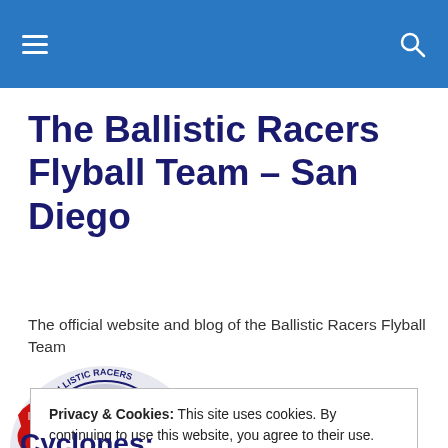Navigation header bar with hamburger menu and search icon
The Ballistic Racers Flyball Team – San Diego
The official website and blog of the Ballistic Racers Flyball Team
[Figure (logo): Ballistic Racers Flyball Team circular logo featuring a black and white dog with red checkered flags and team name text around the border]
Privacy & Cookies: This site uses cookies. By continuing to use this website, you agree to their use.
To find out more, including how to control cookies, see here: Cookie Policy
[Close and accept button]
Cyclones: